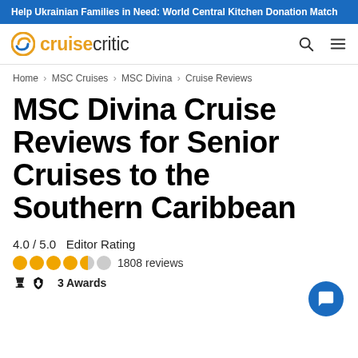Help Ukrainian Families in Need: World Central Kitchen Donation Match
[Figure (logo): Cruise Critic logo with orange C icon and text 'cruisecritic']
Home > MSC Cruises > MSC Divina > Cruise Reviews
MSC Divina Cruise Reviews for Senior Cruises to the Southern Caribbean
4.0 / 5.0  Editor Rating
1808 reviews
3 Awards